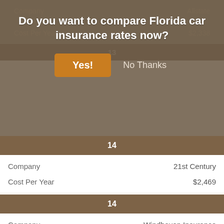[Figure (screenshot): Modal popup dialog asking 'Do you want to compare Florida car insurance rates now?' with a 'Yes!' button in orange and a 'No Thanks' text link, overlaying a table of insurance rates.]
|  |  |
| --- | --- |
| Company | 21st Century |
| Cost Per Year | $2,469 |
| 14 |  |
| Company | Windhaven Insurance |
| Cost Per Year | $2,575 |
| 15 |  |
| Company | Hanover |
| Cost Per Year | $2,934 |
| 16 |  |